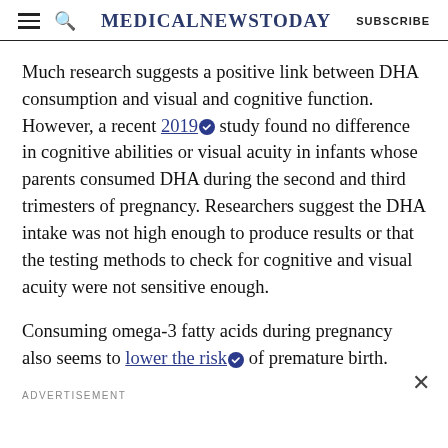MedicalNewsToday | SUBSCRIBE
Much research suggests a positive link between DHA consumption and visual and cognitive function. However, a recent 2019 study found no difference in cognitive abilities or visual acuity in infants whose parents consumed DHA during the second and third trimesters of pregnancy. Researchers suggest the DHA intake was not high enough to produce results or that the testing methods to check for cognitive and visual acuity were not sensitive enough.
Consuming omega-3 fatty acids during pregnancy also seems to lower the risk of premature birth.
ADVERTISEMENT